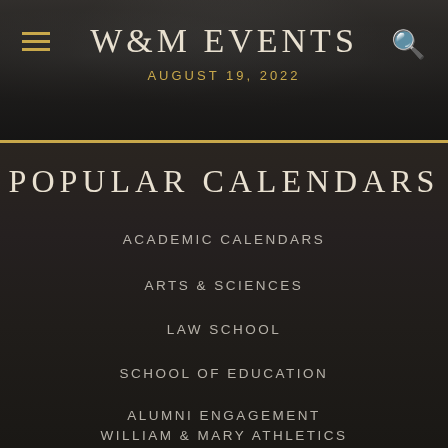W&M EVENTS
AUGUST 19, 2022
POPULAR CALENDARS
ACADEMIC CALENDARS
ARTS & SCIENCES
LAW SCHOOL
SCHOOL OF EDUCATION
ALUMNI ENGAGEMENT
WILLIAM & MARY ATHLETICS